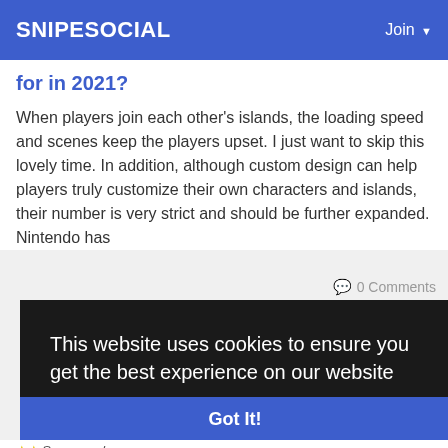SNIPESOCIAL   Join
What is the Animal Crossing updates you hope for in 2021?
When players join each other's islands, the loading speed and scenes keep the players upset. I just want to skip this lovely time. In addition, although custom design can help players truly customize their own characters and islands, their number is very strict and should be further expanded. Nintendo has
0 Comments
This website uses cookies to ensure you get the best experience on our website
Learn More
Got It!
Sponsored